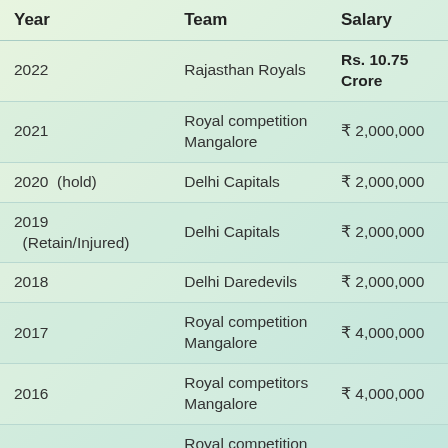| Year | Team | Salary |
| --- | --- | --- |
| 2022 | Rajasthan Royals | Rs. 10.75 Crore |
| 2021 | Royal competition Mangalore | ₹ 2,000,000 |
| 2020  (hold) | Delhi Capitals | ₹ 2,000,000 |
| 2019
(Retain/Injured) | Delhi Capitals | ₹ 2,000,000 |
| 2018 | Delhi Daredevils | ₹ 2,000,000 |
| 2017 | Royal competition Mangalore | ₹ 4,000,000 |
| 2016 | Royal competitors Mangalore | ₹ 4,000,000 |
| 2015 | Royal competition Mangalore | ₹ 4,000,000 |
| 2014 | Royal competition Mangalore | ₹ 4,000,000 |